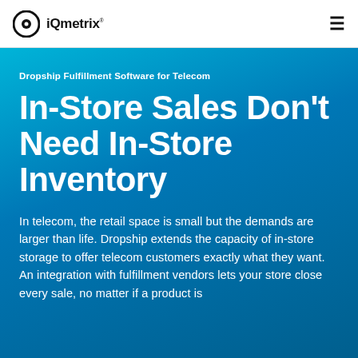iQmetrix
Dropship Fulfillment Software for Telecom
In-Store Sales Don't Need In-Store Inventory
In telecom, the retail space is small but the demands are larger than life. Dropship extends the capacity of in-store storage to offer telecom customers exactly what they want. An integration with fulfillment vendors lets your store close every sale, no matter if a product is